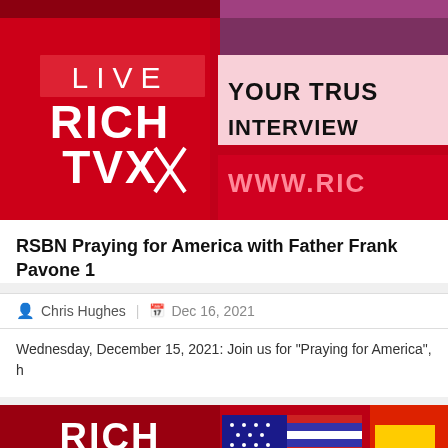[Figure (photo): Rich TVX News banner showing LIVE RICH TVX logo in red and white, with YOUR TRUSTED INTERVIEWS text and www.rich... URL on right side]
RSBN Praying for America with Father Frank Pavone 1
Chris Hughes | Dec 16, 2021
Wednesday, December 15, 2021: Join us for "Praying for America", h
[Figure (photo): Rich TVX News banner showing RICH TVX NEWS logo with American flag and partial red/yellow graphic on right]